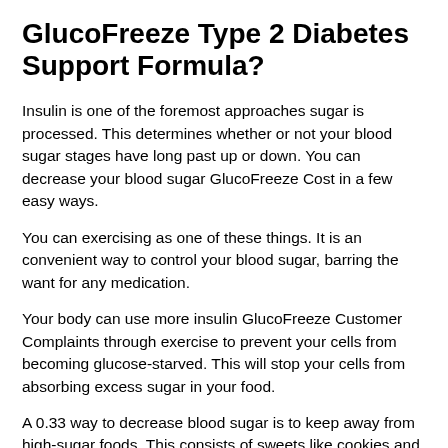GlucoFreeze Type 2 Diabetes Support Formula?
Insulin is one of the foremost approaches sugar is processed. This determines whether or not your blood sugar stages have long past up or down. You can decrease your blood sugar GlucoFreeze Cost in a few easy ways.
You can exercising as one of these things. It is an convenient way to control your blood sugar, barring the want for any medication.
Your body can use more insulin GlucoFreeze Customer Complaints through exercise to prevent your cells from becoming glucose-starved. This will stop your cells from absorbing excess sugar in your food.
A 0.33 way to decrease blood sugar is to keep away from high-sugar foods. This consists of sweets like cookies and candy. These ingredients can amplify blood sugar levels.